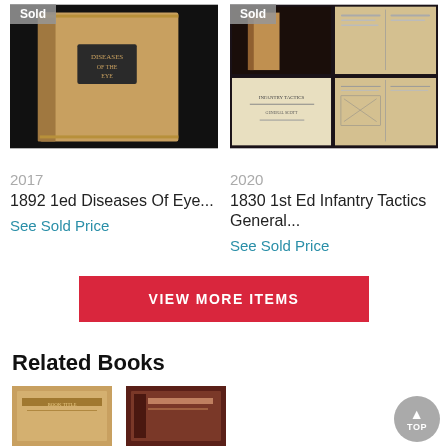[Figure (photo): Photo of a sold book - 1892 1ed Diseases Of Eye, showing book spine against dark background. Has 'Sold' badge.]
[Figure (photo): Photo of a sold book - 1830 1st Ed Infantry Tactics General, showing multiple views of the book. Has 'Sold' badge.]
2017
1892 1ed Diseases Of Eye...
See Sold Price
2020
1830 1st Ed Infantry Tactics General...
See Sold Price
VIEW MORE ITEMS
Related Books
[Figure (photo): Thumbnail of a related book with tan/gold cover.]
[Figure (photo): Thumbnail of a related book with dark red/brown cover.]